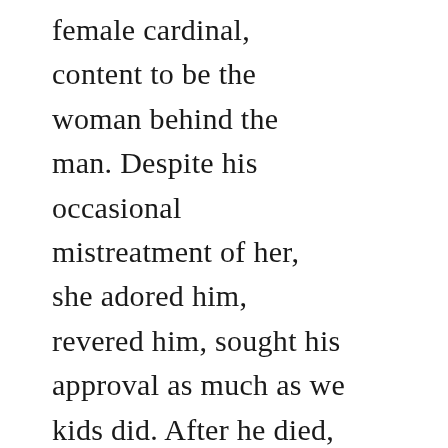female cardinal, content to be the woman behind the man. Despite his occasional mistreatment of her, she adored him, revered him, sought his approval as much as we kids did. After he died, she was without a rudder. At first she found it liberating—the stress of his illness